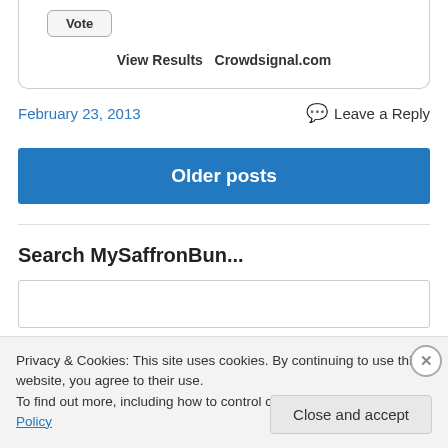[Figure (screenshot): Poll widget bottom showing Vote button and View Results / Crowdsignal.com links]
February 23, 2013
Leave a Reply
Older posts
Search MySaffronBun...
Search
Privacy & Cookies: This site uses cookies. By continuing to use this website, you agree to their use. To find out more, including how to control cookies, see here: Cookie Policy
Close and accept